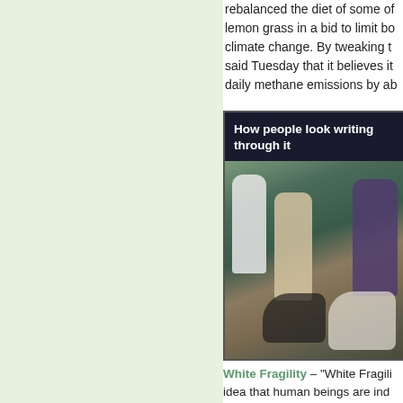rebalanced the diet of some of lemon grass in a bid to limit bo climate change. By tweaking t said Tuesday that it believes it daily methane emissions by ab
[Figure (photo): Meme image with dark background header text 'How people look writing through it' and a photo of robed figures on horseback in a forest setting, resembling characters from a fantasy film.]
White Fragility – "White Fragili idea that human beings are ind